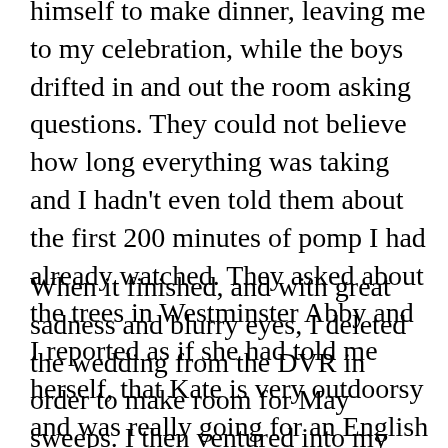at the weddings of all your friends. John happily excused himself to make dinner, leaving me to my celebration, while the boys drifted in and out the room asking questions. They could not believe how long everything was taking and I hadn't even told them about the first 200 minutes of pomp I had already watched. They asked about the trees in Westminster Abby and I reported as if she had told me herself, that Kate is very outdoorsy and was really going for an English Garden feeling. Then they asked about the carriage and the footmen, and all of the fancy outfits on the clergy, and it was decided that John should probably get that cool tall hat if he's gonna get anywhere in this ministry business.
When it finished, and with great sadness and blurry eyes, I deleted the wedding from the DVR in order to make room for May sweeps. I then ventured into my yard to reconnect with the people I know in real life and enjoy the glorious weather.